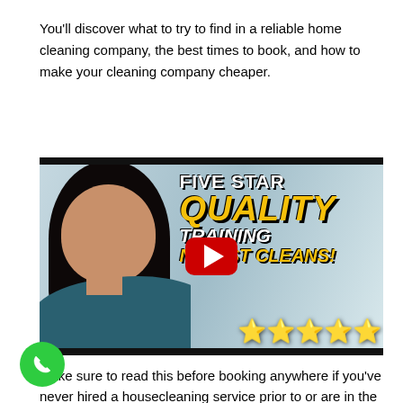You'll discover what to try to find in a reliable home cleaning company, the best times to book, and how to make your cleaning company cheaper.
[Figure (screenshot): YouTube video thumbnail showing a woman on the left side with text overlay on the right reading FIVE STAR QUALITY TRAINING NEXT CLEANS! with five gold stars and a YouTube play button in the center.]
Make sure to read this before booking anywhere if you've never hired a housecleaning service prior to or are in the market for a brand new clean service.